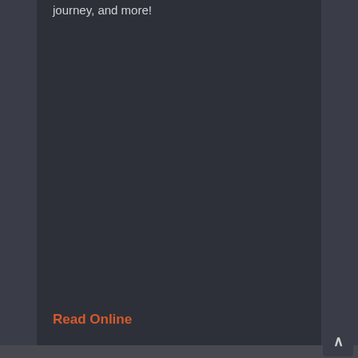journey, and more!
Read Online